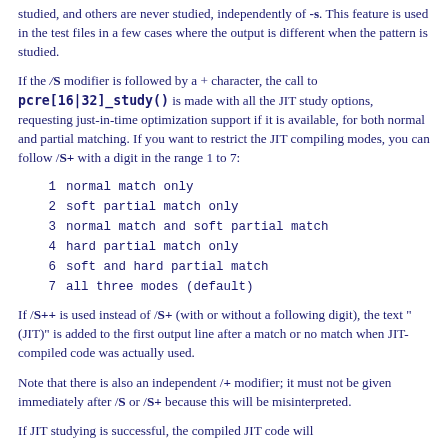studied, and others are never studied, independently of -s. This feature is used in the test files in a few cases where the output is different when the pattern is studied.
If the /S modifier is followed by a + character, the call to pcre[16|32]_study() is made with all the JIT study options, requesting just-in-time optimization support if it is available, for both normal and partial matching. If you want to restrict the JIT compiling modes, you can follow /S+ with a digit in the range 1 to 7:
1   normal match only
2   soft partial match only
3   normal match and soft partial match
4   hard partial match only
6   soft and hard partial match
7   all three modes (default)
If /S++ is used instead of /S+ (with or without a following digit), the text "(JIT)" is added to the first output line after a match or no match when JIT-compiled code was actually used.
Note that there is also an independent /+ modifier; it must not be given immediately after /S or /S+ because this will be misinterpreted.
If JIT studying is successful, the compiled JIT code will